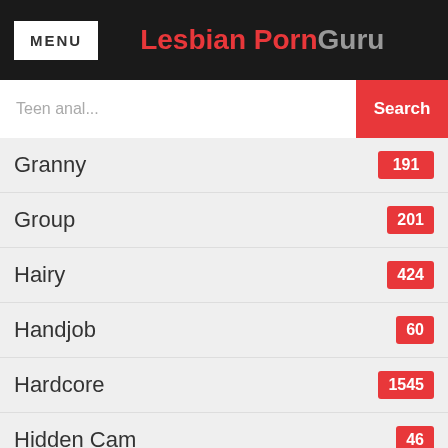MENU | Lesbian PornGuru
Teen anal... Search
Granny 191
Group 201
Hairy 424
Handjob 60
Hardcore 1545
Hidden Cam 46
High Heels 122
Homemade 87
Indian 127
Insertion 55
Interracial 113